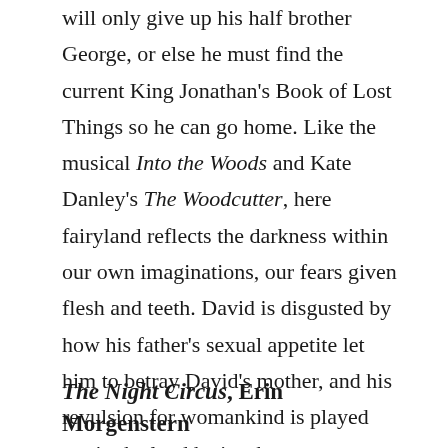will only give up his half brother George, or else he must find the current King Jonathan's Book of Lost Things so he can go home. Like the musical Into the Woods and Kate Danley's The Woodcutter, here fairyland reflects the darkness within our own imaginations, our fears given flesh and teeth. David is disgusted by how his father's sexual appetite let him to betray David's mother, and his revulsion for womankind is played out in the land he is taken to.  Sexuality is a frequent theme in fairytales, for all that they are supposedly designed for children. The magical realm is a place for broken things and broken people — be careful where you step, because anything could be out there in the wood.
The Night Circus, Erin Morgenstern